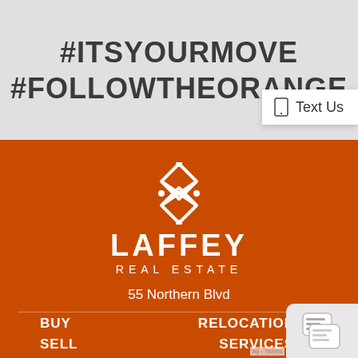#ITSYOURMOVE #FOLLOWTHEORANGE
[Figure (logo): Laffey Real Estate logo with interlocking diamond/cross pattern in white on orange background, company name LAFFEY REAL ESTATE, address 55 Northern Blvd, Greenvale, NY 11548]
Text Us
BUY
SELL
RELOCATION SERVICES